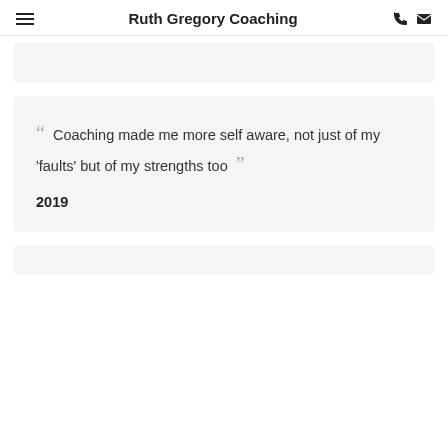Ruth Gregory Coaching
“ Coaching made me more self aware, not just of my 'faults' but of my strengths too ”
2019